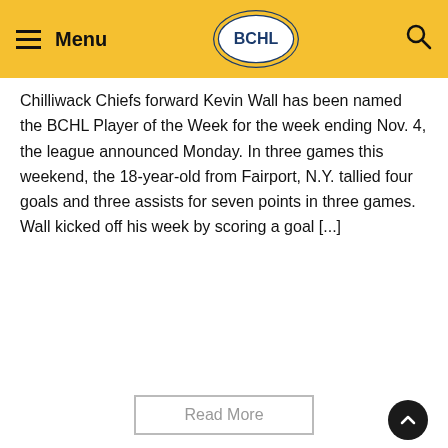Menu | BCHL | Search
Chilliwack Chiefs forward Kevin Wall has been named the BCHL Player of the Week for the week ending Nov. 4, the league announced Monday. In three games this weekend, the 18-year-old from Fairport, N.Y. tallied four goals and three assists for seven points in three games. Wall kicked off his week by scoring a goal [...]
Read More
Hopkins earns BCHLPOW
September 24, 2018
[Figure (photo): West Kelowna Warriors team logo on red background]